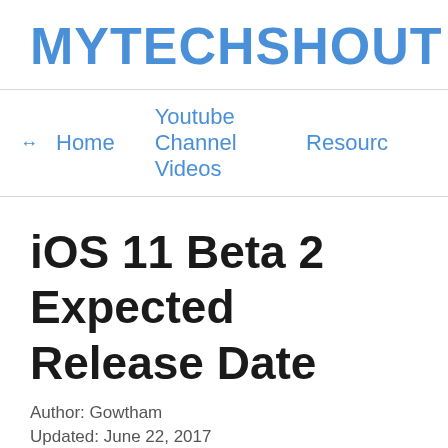MYTECHSHOUT
↔  Home    Youtube Channel Videos    Resourc
iOS 11 Beta 2 Expected Release Date
Author: Gowtham
Updated: June 22, 2017
0 comments
iOS 11 was released by Apple at its Worldwide